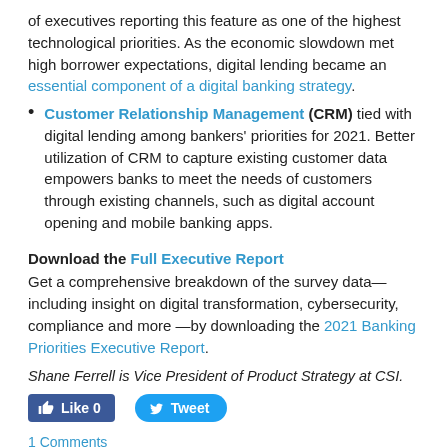of executives reporting this feature as one of the highest technological priorities. As the economic slowdown met high borrower expectations, digital lending became an essential component of a digital banking strategy.
Customer Relationship Management (CRM) tied with digital lending among bankers' priorities for 2021. Better utilization of CRM to capture existing customer data empowers banks to meet the needs of customers through existing channels, such as digital account opening and mobile banking apps.
Download the Full Executive Report
Get a comprehensive breakdown of the survey data—including insight on digital transformation, cybersecurity, compliance and more —by downloading the 2021 Banking Priorities Executive Report.
Shane Ferrell is Vice President of Product Strategy at CSI.
[Figure (other): Like and Tweet social media buttons]
1 Comments